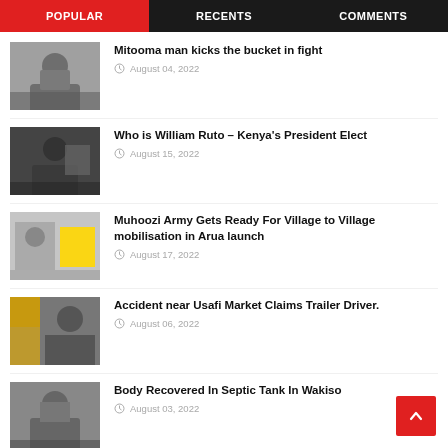POPULAR | RECENTS | COMMENTS
Mitooma man kicks the bucket in fight — August 04, 2022
Who is William Ruto – Kenya's President Elect — August 15, 2022
Muhoozi Army Gets Ready For Village to Village mobilisation in Arua launch — August 17, 2022
Accident near Usafi Market Claims Trailer Driver. — August 06, 2022
Body Recovered In Septic Tank In Wakiso — August 03, 2022